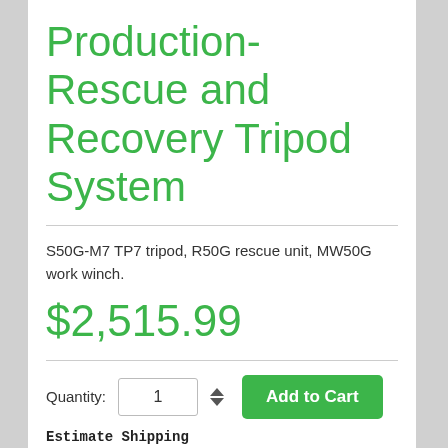Production-Rescue and Recovery Tripod System
S50G-M7 TP7 tripod, R50G rescue unit, MW50G work winch.
$2,515.99
Quantity: 1  Add to Cart
Estimate Shipping